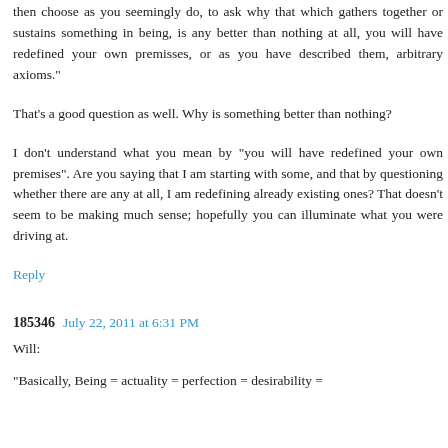then choose as you seemingly do, to ask why that which gathers together or sustains something in being, is any better than nothing at all, you will have redefined your own premisses, or as you have described them, arbitrary axioms."
That's a good question as well. Why is something better than nothing?
I don't understand what you mean by "you will have redefined your own premises". Are you saying that I am starting with some, and that by questioning whether there are any at all, I am redefining already existing ones? That doesn't seem to be making much sense; hopefully you can illuminate what you were driving at.
Reply
185346  July 22, 2011 at 6:31 PM
Will:
"Basically, Being = actuality = perfection = desirability =